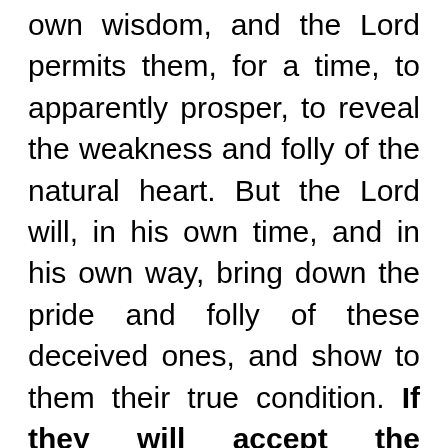own wisdom, and the Lord permits them, for a time, to apparently prosper, to reveal the weakness and folly of the natural heart. But the Lord will, in his own time, and in his own way, bring down the pride and folly of these deceived ones, and show to them their true condition. If they will accept the humiliation, and by confession and sincere repentance, turn unto the Lord, perfecting